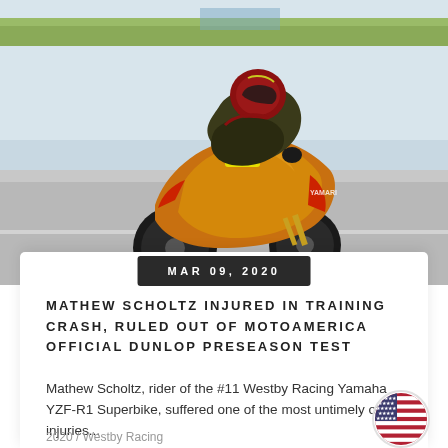[Figure (photo): Motorcycle racer on a race track, leaning into a turn on an orange/gold Yamaha YZF-R1 Superbike, wearing red helmet and racing leathers, on a grey asphalt track with green grass in background]
MAR 09, 2020
MATHEW SCHOLTZ INJURED IN TRAINING CRASH, RULED OUT OF MOTOAMERICA OFFICIAL DUNLOP PRESEASON TEST
Mathew Scholtz, rider of the #11 Westby Racing Yamaha YZF-R1 Superbike, suffered one of the most untimely of injuries...
2020 / Westby Racing